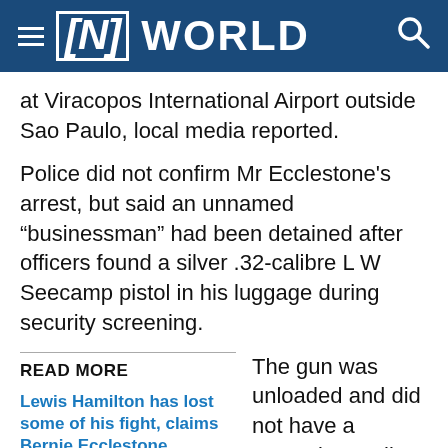[N] WORLD
at Viracopos International Airport outside Sao Paulo, local media reported.
Police did not confirm Mr Ecclestone's arrest, but said an unnamed “businessman” had been detained after officers found a silver .32-calibre L W Seecamp pistol in his luggage during security screening.
READ MORE
Lewis Hamilton has lost some of his fight, claims Bernie Ecclestone
Brazil mudslides and flash floods leave at least 14 dead
The gun was unloaded and did not have a magazine, police said in a statement.